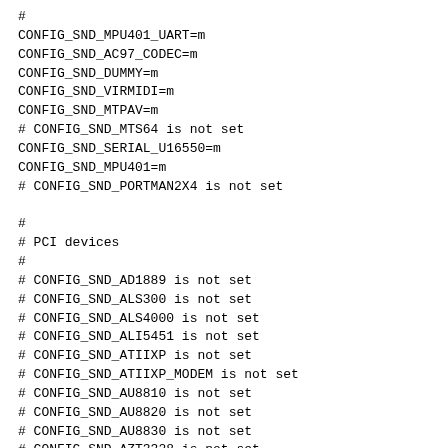#
CONFIG_SND_MPU401_UART=m
CONFIG_SND_AC97_CODEC=m
CONFIG_SND_DUMMY=m
CONFIG_SND_VIRMIDI=m
CONFIG_SND_MTPAV=m
# CONFIG_SND_MTS64 is not set
CONFIG_SND_SERIAL_U16550=m
CONFIG_SND_MPU401=m
# CONFIG_SND_PORTMAN2X4 is not set

#
# PCI devices
#
# CONFIG_SND_AD1889 is not set
# CONFIG_SND_ALS300 is not set
# CONFIG_SND_ALS4000 is not set
# CONFIG_SND_ALI5451 is not set
# CONFIG_SND_ATIIXP is not set
# CONFIG_SND_ATIIXP_MODEM is not set
# CONFIG_SND_AU8810 is not set
# CONFIG_SND_AU8820 is not set
# CONFIG_SND_AU8830 is not set
# CONFIG_SND_AZT3328 is not set
# CONFIG_SND_BT87X is not set
# CONFIG_SND_CA0106 is not set
# CONFIG_SND_CMIPCI is not set
# CONFIG_SND_OXYGEN is not set
# CONFIG_SND_CS4281 is not set
# CONFIG_SND_CS46XX is not set